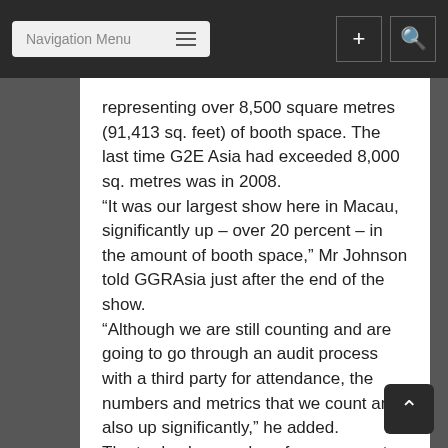Navigation Menu
representing over 8,500 square metres (91,413 sq. feet) of booth space. The last time G2E Asia had exceeded 8,000 sq. metres was in 2008.
“It was our largest show here in Macau, significantly up – over 20 percent – in the amount of booth space,” Mr Johnson told GGRAsia just after the end of the show.
“Although we are still counting and are going to go through an audit process with a third party for attendance, the numbers and metrics that we count are also up significantly,” he added.
The trade show and conference event takes place annually at the Venetian Macao. It is co-organised by Reed Exhibitions and the